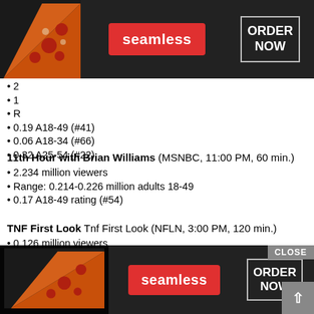[Figure (infographic): Seamless food delivery advertisement banner at top showing pizza slices on dark background with red Seamless logo button and ORDER NOW button]
• 2…
• 1…
• R…
• 0.19 A18-49 (#41)
• 0.06 A18-34 (#66)
• 0.32 A25-54 (#22)
11th Hour with Brian Williams (MSNBC, 11:00 PM, 60 min.)
• 2.234 million viewers
• Range: 0.214-0.226 million adults 18-49
• 0.17 A18-49 rating (#54)
TNF First Look Tnf First Look (NFLN, 3:00 PM, 120 min.)
• 0.126 million viewers
• Range: 0.058-0.071 million adults 18-49
• 0.05 A18-49 rating (#139)
NFLN Thursday Night Pregame (NFLN, 7:30 PM, 36 min.)
• 0.661 million viewers
• Range: 0.278-0.291 million adults 18-49
• 0.22 A18-49 rating (#30)
[Figure (infographic): Seamless food delivery advertisement banner at bottom showing pizza slices on dark background with red Seamless logo button and ORDER NOW button, with CLOSE button]
NF… …7 min.)
• 1…